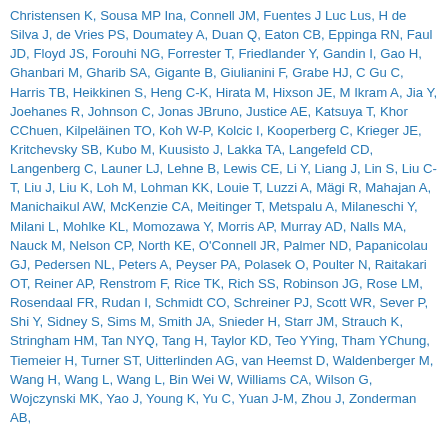Christensen K, Sousa MP Ina, Connell JM, Fuentes J Luc Lus, H de Silva J, de Vries PS, Doumatey A, Duan Q, Eaton CB, Eppinga RN, Faul JD, Floyd JS, Forouhi NG, Forrester T, Friedlander Y, Gandin I, Gao H, Ghanbari M, Gharib SA, Gigante B, Giulianini F, Grabe HJ, C Gu C, Harris TB, Heikkinen S, Heng C-K, Hirata M, Hixson JE, M Ikram A, Jia Y, Joehanes R, Johnson C, Jonas JBruno, Justice AE, Katsuya T, Khor CChuen, Kilpeläinen TO, Koh W-P, Kolcic I, Kooperberg C, Krieger JE, Kritchevsky SB, Kubo M, Kuusisto J, Lakka TA, Langefeld CD, Langenberg C, Launer LJ, Lehne B, Lewis CE, Li Y, Liang J, Lin S, Liu C-T, Liu J, Liu K, Loh M, Lohman KK, Louie T, Luzzi A, Mägi R, Mahajan A, Manichaikul AW, McKenzie CA, Meitinger T, Metspalu A, Milaneschi Y, Milani L, Mohlke KL, Momozawa Y, Morris AP, Murray AD, Nalls MA, Nauck M, Nelson CP, North KE, O'Connell JR, Palmer ND, Papanicolau GJ, Pedersen NL, Peters A, Peyser PA, Polasek O, Poulter N, Raitakari OT, Reiner AP, Renstrom F, Rice TK, Rich SS, Robinson JG, Rose LM, Rosendaal FR, Rudan I, Schmidt CO, Schreiner PJ, Scott WR, Sever P, Shi Y, Sidney S, Sims M, Smith JA, Snieder H, Starr JM, Strauch K, Stringham HM, Tan NYQ, Tang H, Taylor KD, Teo YYing, Tham YChung, Tiemeier H, Turner ST, Uitterlinden AG, van Heemst D, Waldenberger M, Wang H, Wang L, Wang L, Bin Wei W, Williams CA, Wilson G, Wojczynski MK, Yao J, Young K, Yu C, Yuan J-M, Zhou J, Zonderman AB,